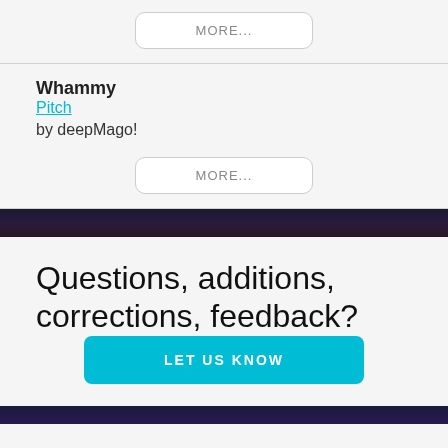MORE...
Whammy
Pitch
by deepMago!
MORE...
Questions, additions, corrections, feedback?
LET US KNOW